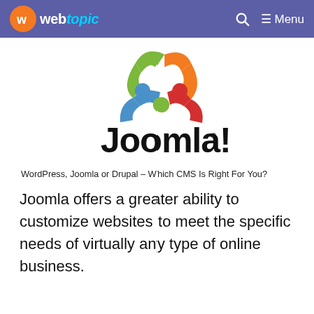webtopic — Menu
[Figure (logo): Joomla! logo — colorful interlocking boomerang shapes (red, blue, green, orange) above the text 'Joomla!' in black with a registered trademark symbol]
WordPress, Joomla or Drupal – Which CMS Is Right For You?
Joomla offers a greater ability to customize websites to meet the specific needs of virtually any type of online business.